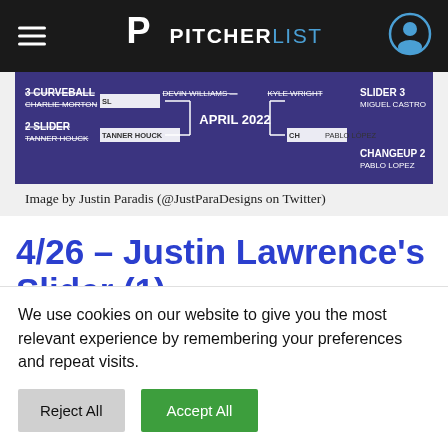PITCHERLIST
[Figure (screenshot): Baseball pitch tournament bracket for April 2022 showing pitchers including Devin Williams, Kyle Wright, Charlie Morton, Tanner Houck, Miguel Castro, Pablo Lopez with pitch types Curveball, Slider, Changeup]
Image by Justin Paradis (@JustParaDesigns on Twitter)
4/26 – Justin Lawrence's Slider (1)
We use cookies on our website to give you the most relevant experience by remembering your preferences and repeat visits.